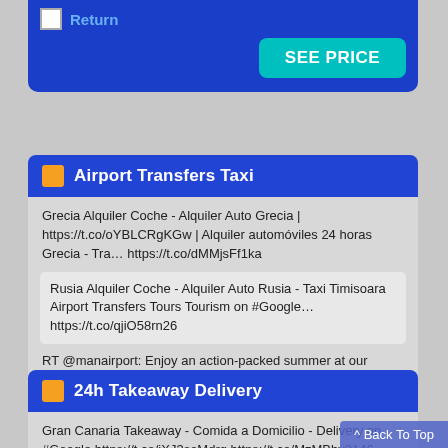[Figure (screenshot): Top portion of a blue travel widget showing a Return checkbox and a teal SEE PRICE button]
Airport Transfers Taxi
Grecia Alquiler Coche - Alquiler Auto Grecia | https://t.co/oYBLCRgKGw | Alquiler automóviles 24 horas Grecia - Tra… https://t.co/dMMjsFf1ka
Rusia Alquiler Coche - Alquiler Auto Rusia - Taxi Timisoara Airport Transfers Tours Tourism on #Google… https://t.co/qjiO58rn26
RT @manairport: Enjoy an action-packed summer at our Runway Visitor Park, open daily 8am-8pm ☀ ✈ Programme of summer events & activities...
FOLLOW Transport-Tours-Travel-AirportTransfersTaxiShuttle ON_TWITTER
24h Takeaway Delivery
Gran Canaria Takeaway - Comida a Domicilio - Delivery on #Google https://t.co/iXJ3soMdrq https://t.co/MzMBbv2146